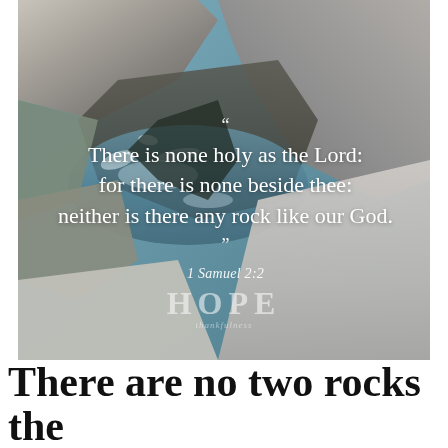[Figure (photo): Photograph of rocks and water at a coastal or riverside scene, with large grey boulders and splashing water. Overlaid with a Bible verse quote in white serif text.]
“ There is none holy as the Lord: for there is none beside thee: neither is there any rock like our God. ” 1 Samuel 2:2
There are no two rocks the